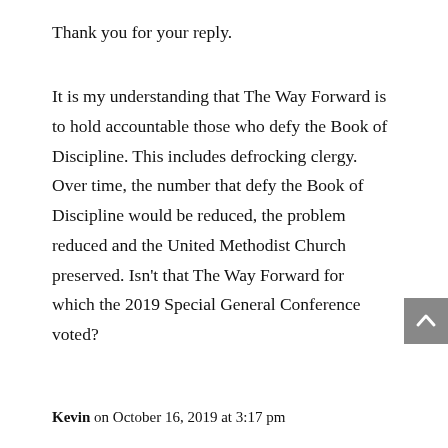Thank you for your reply.
It is my understanding that The Way Forward is to hold accountable those who defy the Book of Discipline. This includes defrocking clergy. Over time, the number that defy the Book of Discipline would be reduced, the problem reduced and the United Methodist Church preserved. Isn't that The Way Forward for which the 2019 Special General Conference voted?
Kevin on October 16, 2019 at 3:17 pm